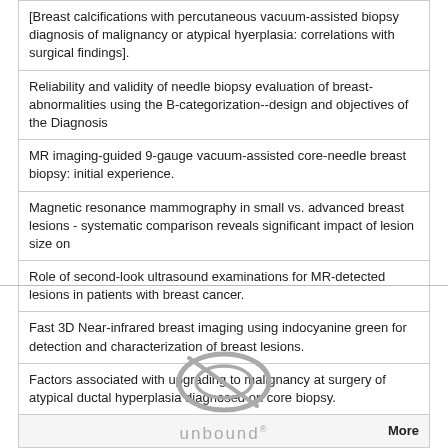| [Breast calcifications with percutaneous vacuum-assisted biopsy diagnosis of malignancy or atypical hyerplasia: correlations with surgical findings]. |
| Reliability and validity of needle biopsy evaluation of breast-abnormalities using the B-categorization--design and objectives of the Diagnosis |
| MR imaging-guided 9-gauge vacuum-assisted core-needle breast biopsy: initial experience. |
| Magnetic resonance mammography in small vs. advanced breast lesions - systematic comparison reveals significant impact of lesion size on |
| Role of second-look ultrasound examinations for MR-detected lesions in patients with breast cancer. |
| Fast 3D Near-infrared breast imaging using indocyanine green for detection and characterization of breast lesions. |
| Factors associated with upgrading to malignancy at surgery of atypical ductal hyperplasia diagnosed on core biopsy. |
| More |
[Figure (logo): Unbound Medicine logo - oval shape with 'unbound' text below]